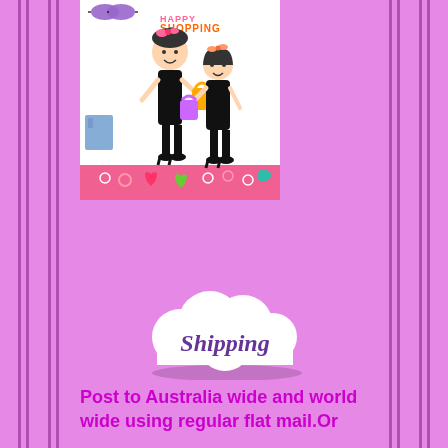[Figure (illustration): Cartoon illustration of two stylish girls shopping, with 'HAPPY SHOPPING' text, against a white background with a pink decorative border strip at the bottom containing hearts and colorful icons]
[Figure (illustration): Cloud-shaped badge with the word 'Shipping' written in purple italic text on a white cloud with shadow]
Post to Australia wide and world wide using regular flat mail.Or